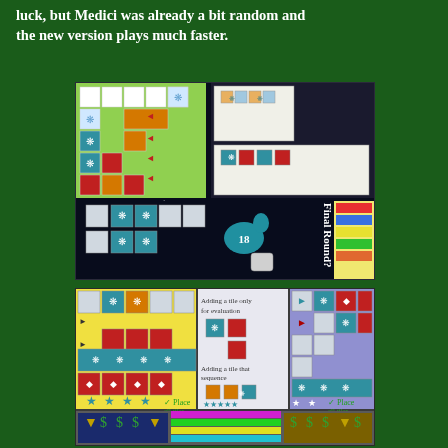luck, but Medici was already a bit random and the new version plays much faster.
[Figure (screenshot): Screenshot of a board game interface showing tile-placement game boards with colorful tiles in teal, orange, red patterns on dark navy background. Multiple game states shown including 'Final Round?' indicator and scoring grids.]
[Figure (screenshot): Screenshot of a board game score/player interface showing colored bars (magenta, cyan, yellow, green) with player tokens and scoring track.]